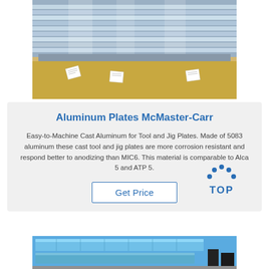[Figure (photo): Photo of stacked aluminum sheets/plates with a tan/brown background and small white cards]
Aluminum Plates McMaster-Carr
Easy-to-Machine Cast Aluminum for Tool and Jig Plates. Made of 5083 aluminum these cast tool and jig plates are more corrosion resistant and respond better to anodizing than MIC6. This material is comparable to Alca 5 and ATP 5.
[Figure (logo): TOP logo with blue dots arranged in an arc above the word TOP]
[Figure (photo): Photo of blue aluminum sheets/plates from above]